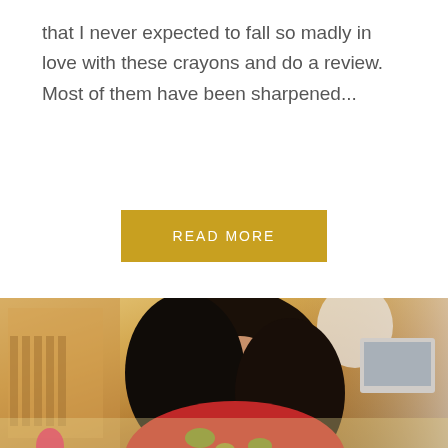that I never expected to fall so madly in love with these crayons and do a review. Most of them have been sharpened...
[Figure (other): A 'READ MORE' button with golden/mustard yellow background and white uppercase text]
[Figure (photo): A woman with long dark hair wearing a red floral top, leaning over a desk or table in a warm, wood-toned room with shelves and a pendant light in the background]